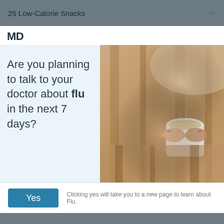25 Low-Calorie Snacks →
MD
Are you planning to talk to your doctor about flu in the next 7 days?
[Figure (photo): Person wrapped in a blanket holding a warm cup of tea or coffee, suggesting flu or illness recovery]
Yes
Clicking yes will take you to a new page to learn about Flu.